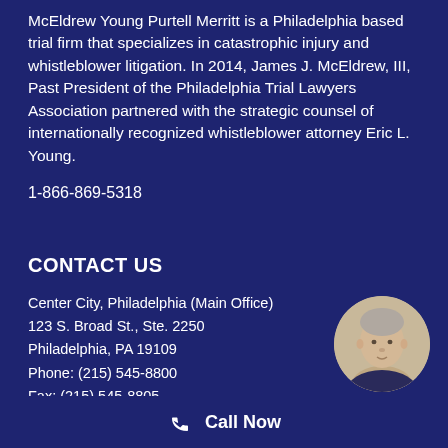McEldrew Young Purtell Merritt is a Philadelphia based trial firm that specializes in catastrophic injury and whistleblower litigation. In 2014, James J. McEldrew, III, Past President of the Philadelphia Trial Lawyers Association partnered with the strategic counsel of internationally recognized whistleblower attorney Eric L. Young.
1-866-869-5318
CONTACT US
Center City, Philadelphia (Main Office)
123 S. Broad St., Ste. 2250
Philadelphia, PA 19109
Phone: (215) 545-8800
Fax: (215) 545-8805
[Figure (photo): Circular headshot of a gray-haired man in professional attire]
Call Now